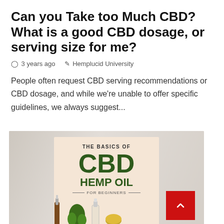Can you Take too Much CBD? What is a good CBD dosage, or serving size for me?
3 years ago   Hemplucid University
People often request CBD serving recommendations or CBD dosage, and while we're unable to offer specific guidelines, we always suggest...
[Figure (infographic): Infographic image: 'The Basics of CBD Hemp Oil for Beginners' text in dark green on a tan/beige background, with dropper bottles and hemp leaves in the foreground]